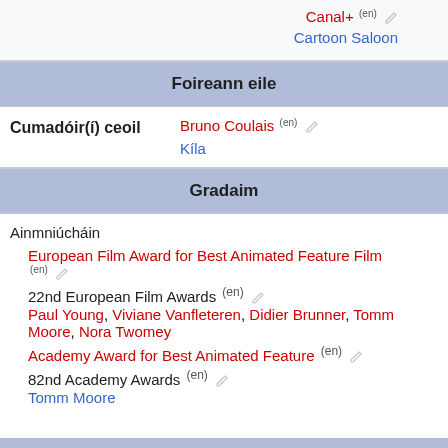Canal+ (en)
Cartoon Saloon
Foireann eile
Cumadóir(í) ceoil
Bruno Coulais (en)
Kíla
Gradaim
Ainmniúcháin
European Film Award for Best Animated Feature Film (en)
22nd European Film Awards (en)
Paul Young, Viviane Vanfleteren, Didier Brunner, Tomm Moore, Nora Twomey
Academy Award for Best Animated Feature (en)
82nd Academy Awards (en)
Tomm Moore